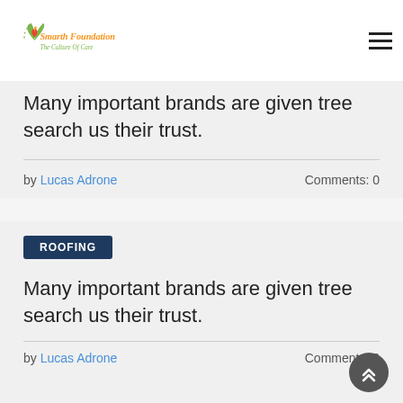Smarth Foundation — The Culture Of Care
Many important brands are given tree search us their trust.
by Lucas Adrone   Comments: 0
ROOFING
Many important brands are given tree search us their trust.
by Lucas Adrone   Comments: 0